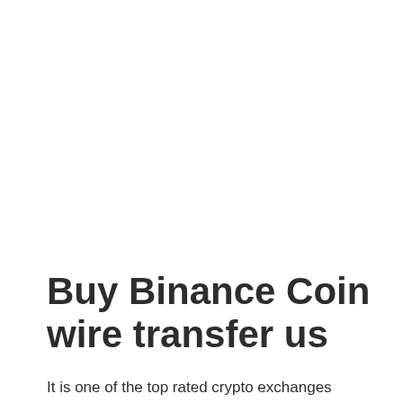Buy Binance Coin wire transfer us
It is one of the top rated crypto exchanges